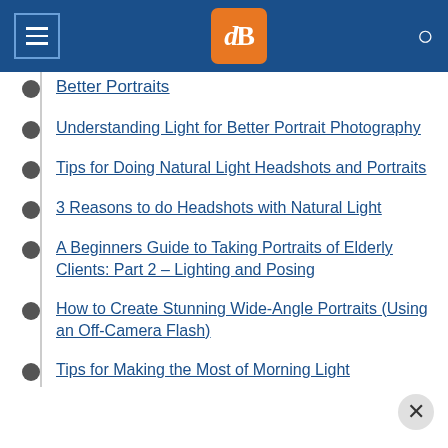dPS (digital Photography School) navigation header
Better Portraits
Understanding Light for Better Portrait Photography
Tips for Doing Natural Light Headshots and Portraits
3 Reasons to do Headshots with Natural Light
A Beginners Guide to Taking Portraits of Elderly Clients: Part 2 – Lighting and Posing
How to Create Stunning Wide-Angle Portraits (Using an Off-Camera Flash)
Tips for Making the Most of Morning Light